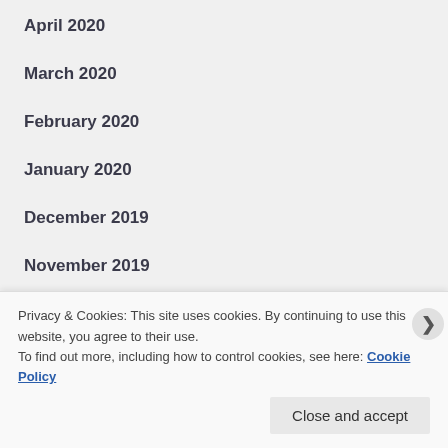April 2020
March 2020
February 2020
January 2020
December 2019
November 2019
October 2019
September 2019
Privacy & Cookies: This site uses cookies. By continuing to use this website, you agree to their use.
To find out more, including how to control cookies, see here: Cookie Policy
Close and accept